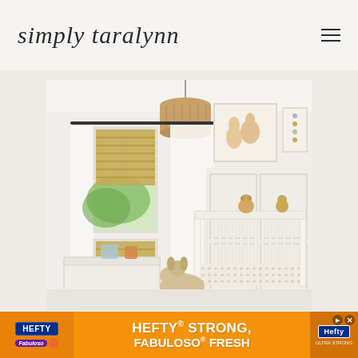simply taralynn
[Figure (photo): A bright, airy nursery room with white walls featuring board and batten wainscoting. A white baby crib with wooden accents sits against the right wall with stuffed animal toys. Bamboo roman shades hang on two windows with white sheer curtains. A woven rattan drum pendant light hangs from the ceiling. A white wooden toy chest sits near the windows. A fluffy stuffed puppy rocking toy sits on the floor. A soft patterned area rug covers the floor. Framed animal artwork hangs on the wall above the crib area.]
[Figure (advertisement): Hefty brand advertisement with orange background showing 'HEFTY STRONG, FABULOSO FRESH' text in white bold letters. Features Hefty and Fabuloso product branding logos on left and right sides.]